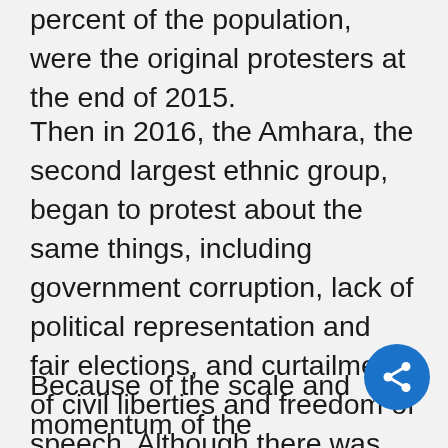percent of the population, were the original protesters at the end of 2015.
Then in 2016, the Amhara, the second largest ethnic group, began to protest about the same things, including government corruption, lack of political representation and fair elections, and curtailment of civil liberties and freedom of speech. Although there was an element of solidarity, the two protest movements never fully coalesced — due in part to the historical tensions between the Amhara and Oromo. At the same time, the government was terrified that the two groups would unite; together, the Oromo and Amhara account for around 65 percent of the country's populat
Because of the scale and momentum of the